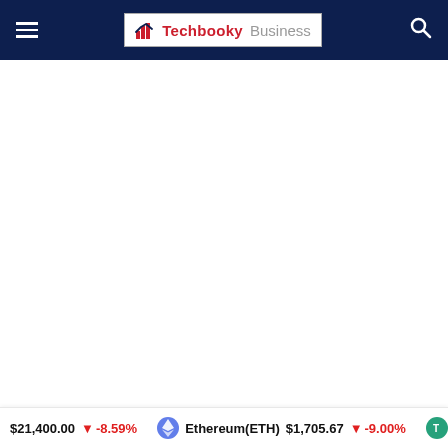Techbooky Business — navigation header with hamburger menu, logo, and search icon
[Figure (screenshot): Large white blank content area below the header, representing the main page body with no visible content loaded]
$21,400.00 ▼ -8.59% | Ethereum(ETH) $1,705.67 ▼ -9.00% | Te...